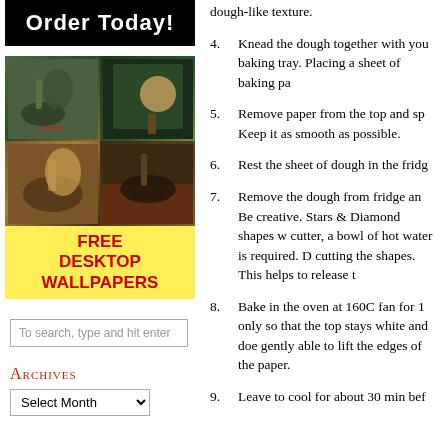[Figure (illustration): Black banner with bold white text 'Order Today!']
[Figure (photo): Collage of four images showing equestrian statues and a lady in period costume, with yellow FREE DESKTOP WALLPAPERS banner in the center]
To search, type and hit enter
Archives
Select Month
dough-like texture.
4.        Knead the dough together with your hands and flatten it onto a baking tray. Placing a sheet of baking pa
5.        Remove paper from the top and sp Keep it as smooth as possible.
6.        Rest the sheet of dough in the fridg
7.        Remove the dough from fridge and Be creative. Stars & Diamond shapes wo cutter, a bowl of hot water is required. D cutting the shapes. This helps to release t
8.        Bake in the oven at 160C fan for 1 only so that the top stays white and does gently able to lift the edges of the paper.
9.        Leave to cool for about 30 min bef